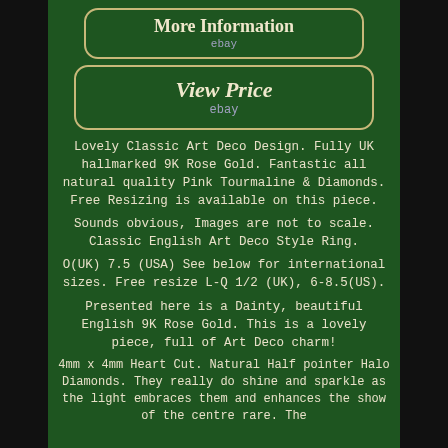[Figure (other): Button/badge styled element reading 'More Information' with 'ebay' subtext, dark green background with gold border, rounded rectangle]
[Figure (other): Button/badge styled element reading 'View Price' with 'ebay' subtext, dark green background with gold border, rounded rectangle]
Lovely Classic Art Deco Design. Fully UK hallmarked 9K Rose Gold. Fantastic all natural quality Pink Tourmaline & Diamonds. Free Resizing is available on this piece.
Sounds obvious, Images are not to scale. Classic English Art Deco Style Ring.
O(UK) 7.5 (USA) See below for international sizes. Free resize L-Q 1/2 (UK), 6-8.5(US).
Presented here is a Dainty, beautiful English 9K Rose Gold. This is a lovely piece, full of Art Deco charm!
4mm x 4mm Heart Cut. Natural Half pointer Halo Diamonds. They really do shine and sparkle as the light embraces them and enhances the show of the centre rare. The